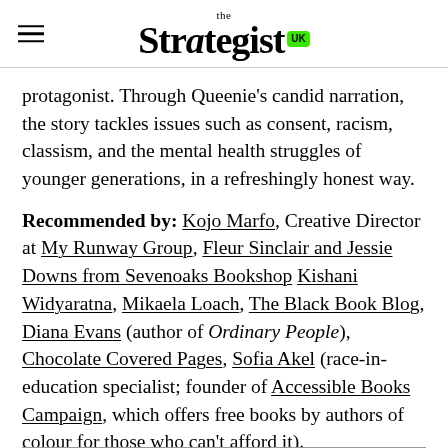the Strategist UK
protagonist. Through Queenie's candid narration, the story tackles issues such as consent, racism, classism, and the mental health struggles of younger generations, in a refreshingly honest way.
Recommended by: Kojo Marfo, Creative Director at My Runway Group, Fleur Sinclair and Jessie Downs from Sevenoaks Bookshop Kishani Widyaratna, Mikaela Loach, The Black Book Blog, Diana Evans (author of Ordinary People), Chocolate Covered Pages, Sofia Akel (race-in-education specialist; founder of Accessible Books Campaign, which offers free books by authors of colour for those who can't afford it).